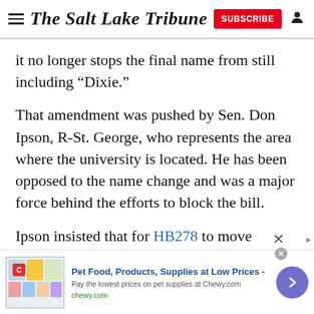The Salt Lake Tribune
it no longer stops the final name from still including “Dixie.”
That amendment was pushed by Sen. Don Ipson, R-St. George, who represents the area where the university is located. He has been opposed to the name change and was a major force behind the efforts to block the bill.
Ipson insisted that for HB278 to move forward this session, the word “Dixie” must remain among the
[Figure (other): Advertisement banner: Pet Food, Products, Supplies at Low Prices - chewy.com. Includes product images and a navigation arrow button.]